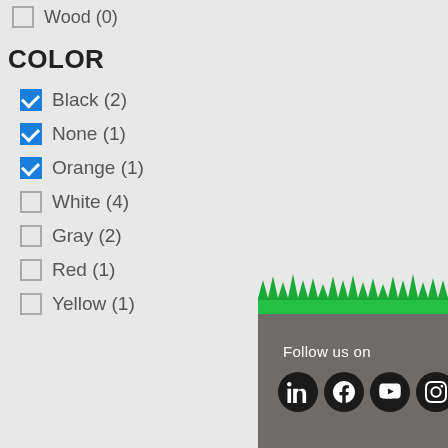Wood (0)
COLOR
Black (2)
None (1)
Orange (1)
White (4)
Gray (2)
Red (1)
Yellow (1)
[Figure (illustration): Decorative grass illustration with green zigzag grass shape above a dark gray footer panel]
Follow us on
[Figure (illustration): Social media icons: LinkedIn, Facebook, YouTube, Instagram, and a partially visible fifth icon on dark gray background]